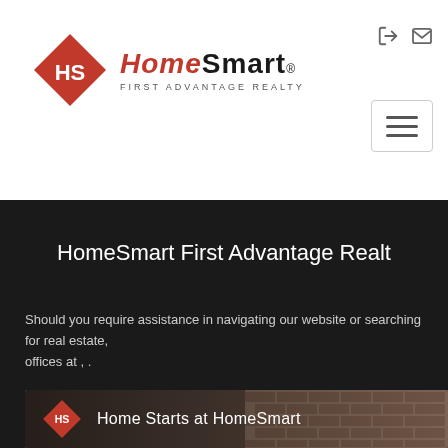[Figure (logo): HomeSmart First Advantage Realty logo with red diamond shape and company name]
HomeSmart First Advantage Realt
Should you require assistance in navigating our website or searching for real estate, offices at , .
[Figure (screenshot): Video thumbnail showing Home Starts at HomeSmart with logo and brick building background]